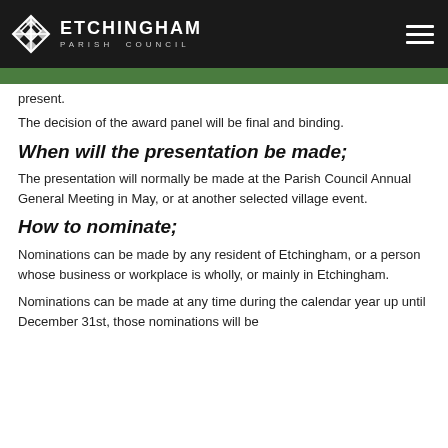Etchingham Parish Council
present.
The decision of the award panel will be final and binding.
When will the presentation be made;
The presentation will normally be made at the Parish Council Annual General Meeting in May, or at another selected village event.
How to nominate;
Nominations can be made by any resident of Etchingham, or a person whose business or workplace is wholly, or mainly in Etchingham.
Nominations can be made at any time during the calendar year up until December 31st, those nominations will be